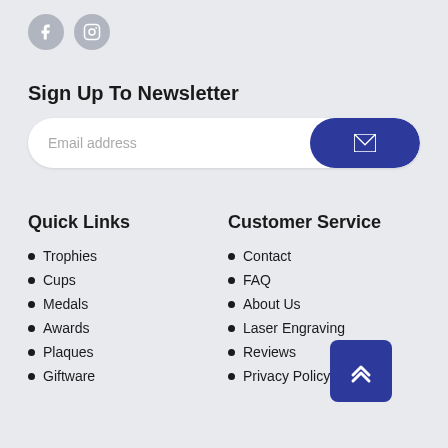[Figure (logo): Facebook and Instagram social media icon buttons (circular grey icons)]
Sign Up To Newsletter
[Figure (other): Email address input field with blue submit button containing envelope icon]
Quick Links
Trophies
Cups
Medals
Awards
Plaques
Giftware
Customer Service
Contact
FAQ
About Us
Laser Engraving
Reviews
Privacy Policy